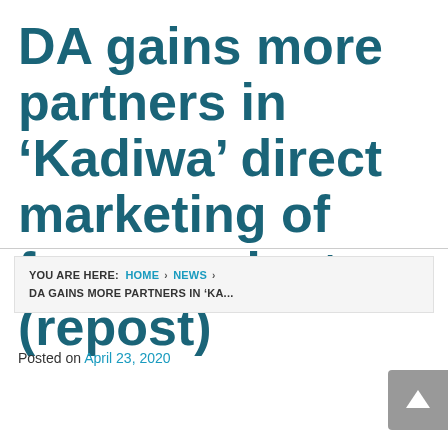DA gains more partners in ‘Kadiwa’ direct marketing of farm products (repost)
YOU ARE HERE: HOME › NEWS › DA GAINS MORE PARTNERS IN ‘KA...
Posted on April 23, 2020